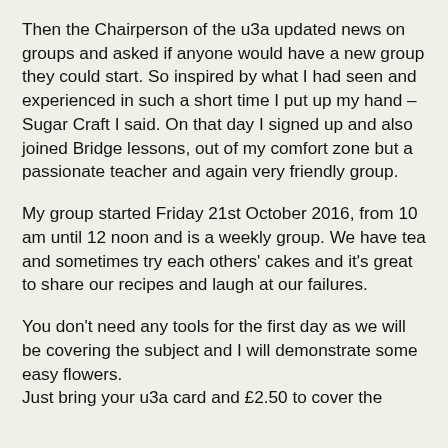Then the Chairperson of the u3a updated news on groups and asked if anyone would have a new group they could start. So inspired by what I had seen and experienced in such a short time I put up my hand – Sugar Craft I said. On that day I signed up and also joined Bridge lessons, out of my comfort zone but a passionate teacher and again very friendly group.
My group started Friday 21st October 2016, from 10 am until 12 noon and is a weekly group. We have tea and sometimes try each others' cakes and it's great to share our recipes and laugh at our failures.
You don't need any tools for the first day as we will be covering the subject and I will demonstrate some easy flowers. Just bring your u3a card and £2.50 to cover the